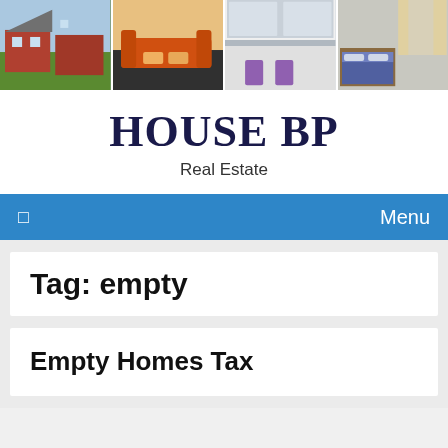[Figure (photo): Strip of four property photos: exterior of brick house with garden, living room with orange sofas, kitchen/dining with purple chairs, bedroom with blue bedding and wooden bed frame, and a fifth room view]
HOUSE BP
Real Estate
☰  Menu
Tag: empty
Empty Homes Tax